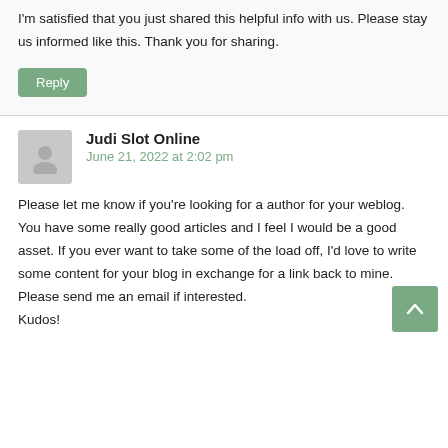I'm satisfied that you just shared this helpful info with us. Please stay us informed like this. Thank you for sharing.
Reply
Judi Slot Online
June 21, 2022 at 2:02 pm
Please let me know if you're looking for a author for your weblog. You have some really good articles and I feel I would be a good asset. If you ever want to take some of the load off, I'd love to write some content for your blog in exchange for a link back to mine. Please send me an email if interested. Kudos!